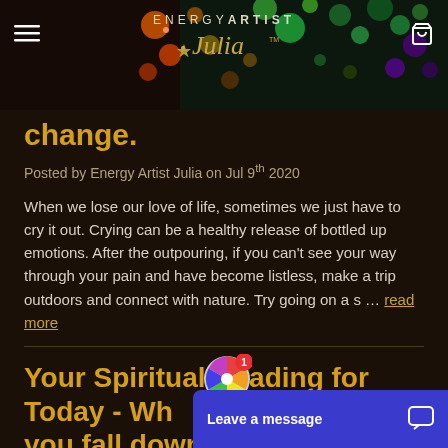ENERGY ARTIST Julia™
change.
Posted by Energy Artist Julia on Jul 9th 2020
When we lose our love of life, sometimes we just have to cry it out. Crying can be a healthy release of bottled up emotions. After the outpouring, if you can't see your way through your pain and have become listless, make a trip outdoors and connect with nature. Try going on a s … read more
Your Spiritual Reading for Today - Wh... you fall down th... with yourself an...
[Figure (other): Spin wheel widget with colorful pie sections in red, orange, yellow, green, blue colors, with a red notification badge showing number 1]
[Figure (other): Blue chat widget at bottom right with text 'Leave a message' and a chat bubble icon]